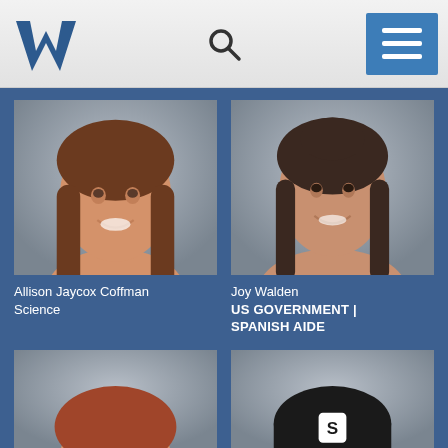School website header with logo, search icon, and menu button
[Figure (photo): Headshot of Allison Jaycox Coffman, female teacher with long brown hair, smiling, gray background]
Allison Jaycox Coffman
Science
[Figure (photo): Headshot of Joy Walden, female teacher with dark hair, smiling, gray background]
Joy Walden
US GOVERNMENT | SPANISH AIDE
[Figure (photo): Partial headshot of female staff member with reddish hair, partially visible at bottom of page]
[Figure (photo): Partial headshot of male staff member wearing black knit cap, partially visible at bottom of page]